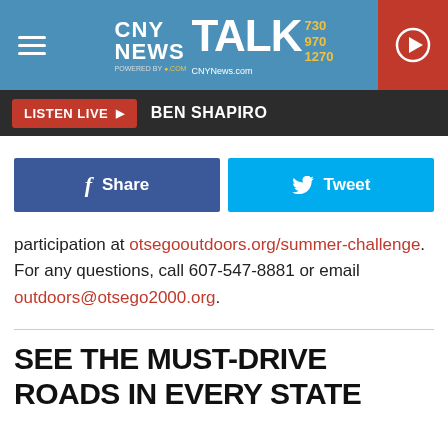CNY NEWS TALK 730 970 1270 | CNYNews.com
LISTEN LIVE ▶  BEN SHAPIRO
[Figure (screenshot): Facebook Share and Twitter Tweet social sharing buttons]
participation at otsegooutdoors.org/summer-challenge. For any questions, call 607-547-8881 or email outdoors@otsego2000.org.
SEE THE MUST-DRIVE ROADS IN EVERY STATE